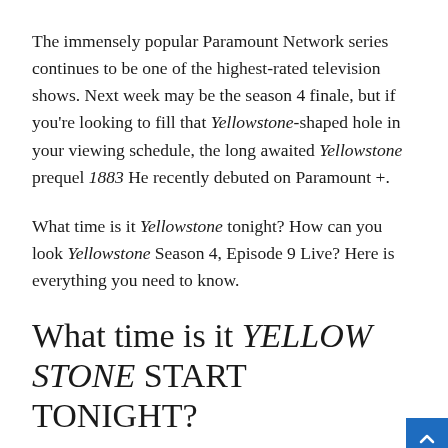The immensely popular Paramount Network series continues to be one of the highest-rated television shows. Next week may be the season 4 finale, but if you're looking to fill that Yellowstone-shaped hole in your viewing schedule, the long awaited Yellowstone prequel 1883 He recently debuted on Paramount +.
What time is it Yellowstone tonight? How can you look Yellowstone Season 4, Episode 9 Live? Here is everything you need to know.
What time is it YELLOWSTONE START TONIGHT?